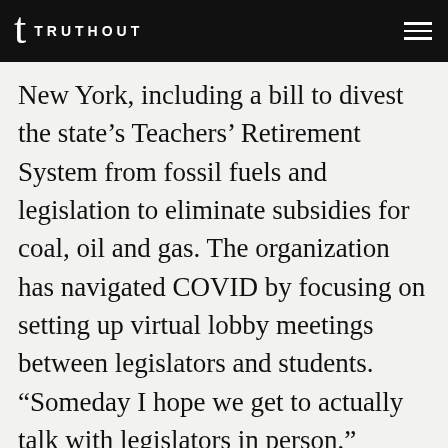TRUTHOUT
New York, including a bill to divest the state’s Teachers’ Retirement System from fossil fuels and legislation to eliminate subsidies for coal, oil and gas. The organization has navigated COVID by focusing on setting up virtual lobby meetings between legislators and students. “Someday I hope we get to actually talk with legislators in person,” Cerosaletti said. “But virtual lobbying has worked really well. It’s a great way to continue reaching legislators during a pandemic.”